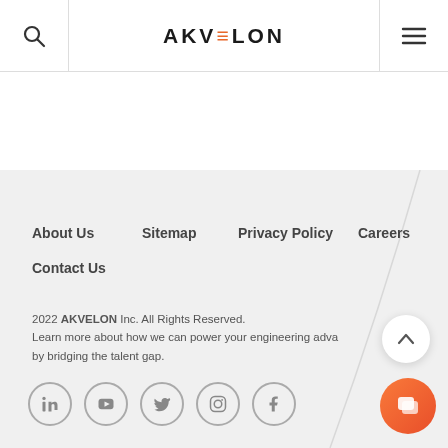AKVELON (logo with search and menu icons)
About Us
Sitemap
Privacy Policy
Careers
Contact Us
2022 AKVELON Inc. All Rights Reserved. Learn more about how we can power your engineering adva… by bridging the talent gap.
[Figure (other): Social media icons: LinkedIn, YouTube, Twitter, Instagram, Facebook in circle outlines]